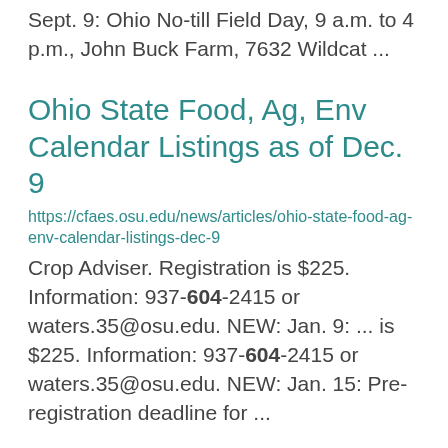Sept. 9: Ohio No-till Field Day, 9 a.m. to 4 p.m., John Buck Farm, 7632 Wildcat ...
Ohio State Food, Ag, Env Calendar Listings as of Dec. 9
https://cfaes.osu.edu/news/articles/ohio-state-food-ag-env-calendar-listings-dec-9
Crop Adviser. Registration is $225. Information: 937-604-2415 or waters.35@osu.edu. NEW: Jan. 9: ... is $225. Information: 937-604-2415 or waters.35@osu.edu. NEW: Jan. 15: Pre-registration deadline for ...
Ohio State Food, Ag, Env Calendar